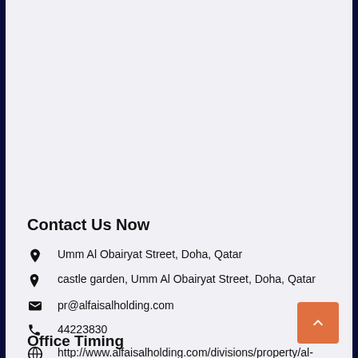Contact Us Now
Umm Al Obairyat Street, Doha, Qatar
castle garden, Umm Al Obairyat Street, Doha, Qatar
pr@alfaisalholding.com
44223830
http://www.alfaisalholding.com/divisions/property/al-jazi-real-estate-investment-company/compounds/castle-gardens.aspx
Office Timing